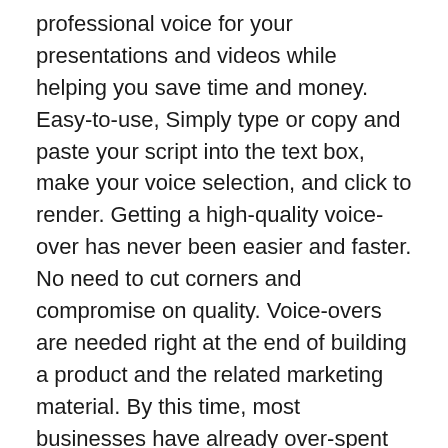professional voice for your presentations and videos while helping you save time and money. Easy-to-use, Simply type or copy and paste your script into the text box, make your voice selection, and click to render. Getting a high-quality voice-over has never been easier and faster. No need to cut corners and compromise on quality. Voice-overs are needed right at the end of building a product and the related marketing material. By this time, most businesses have already over-spent on their budget. But now with Synthesys no more compromising on the quality of voice-overs to save money. Also, say goodbye to delays caused by script changes, casting talent, and booking recording studios. Works seamlessly on any device, Access your Synthesys secure dashboard via any web browser. It's hosted on the cloud – no software installation or downloads required!